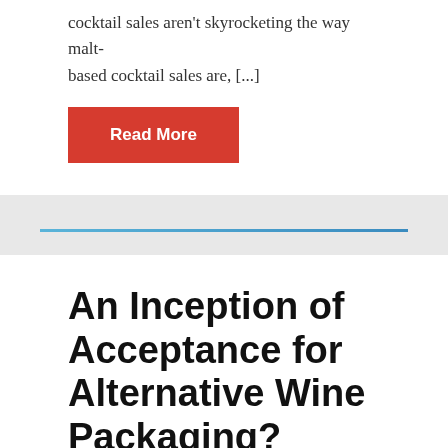cocktail sales aren't skyrocketing the way malt-based cocktail sales are, [...]
Read More
An Inception of Acceptance for Alternative Wine Packaging?